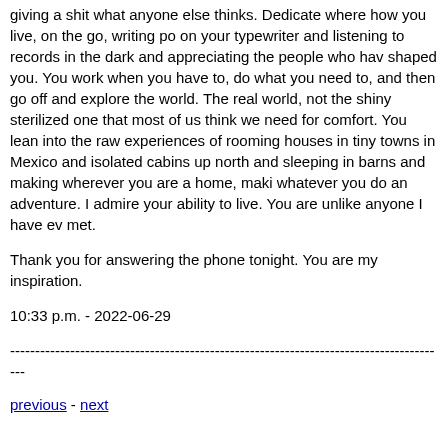giving a shit what anyone else thinks. Dedicate where how you live, on the go, writing poetry on your typewriter and listening to records in the dark and appreciating the people who have shaped you. You work when you have to, do what you need to, and then go off and explore the world. The real world, not the shiny sterilized one that most of us think we need for comfort. You lean into the raw experiences of rooming houses in tiny towns in Mexico and isolated cabins up north and sleeping in barns and making wherever you are a home, making whatever you do an adventure. I admire your ability to live. You are unlike anyone I have ever met.
Thank you for answering the phone tonight. You are my inspiration.
10:33 p.m. - 2022-06-29
----------------------------------------------------------------------------------------
previous - next